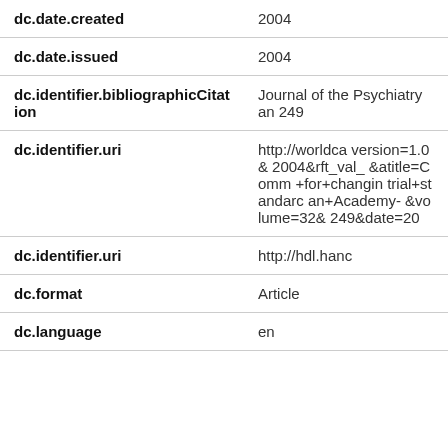| Field | Value |
| --- | --- |
| dc.date.created | 2004 |
| dc.date.issued | 2004 |
| dc.identifier.bibliographicCitation | Journal of the Psychiatry an 249 |
| dc.identifier.uri | http://worldca version=1.0& 2004&rft_val_ &atitle=Comm +for+changin trial+standarc an+Academy- &volume=32& 249&date=20 |
| dc.identifier.uri | http://hdl.hanc |
| dc.format | Article |
| dc.language | en |